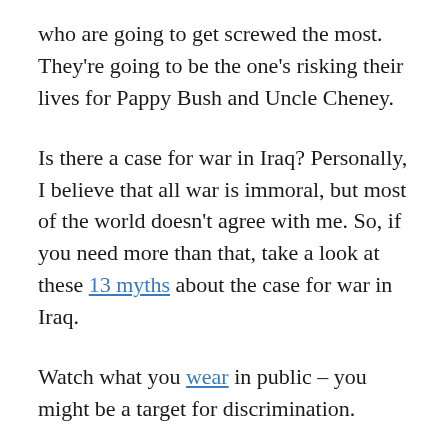who are going to get screwed the most. They're going to be the one's risking their lives for Pappy Bush and Uncle Cheney.
Is there a case for war in Iraq? Personally, I believe that all war is immoral, but most of the world doesn't agree with me. So, if you need more than that, take a look at these 13 myths about the case for war in Iraq.
Watch what you wear in public – you might be a target for discrimination.
Bush is out of control. Am I next?
I first started to examine what I believe about